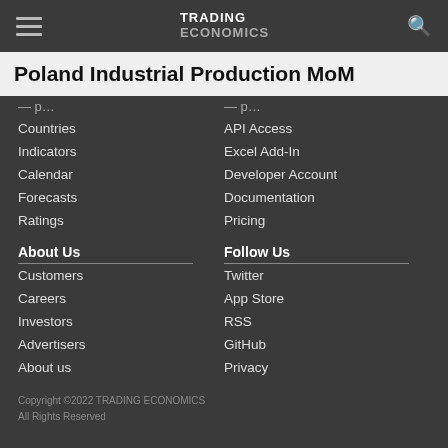TRADING ECONOMICS
Poland Industrial Production MoM
Countries
Indicators
Calendar
Forecasts
Ratings
API Access
Excel Add-In
Developer Account
Documentation
Pricing
About Us
Customers
Careers
Investors
Advertisers
About us
Follow Us
Twitter
App Store
RSS
GitHub
Privacy
Copyright ©2022 TRADING ECONOMICS
All Rights Reserved